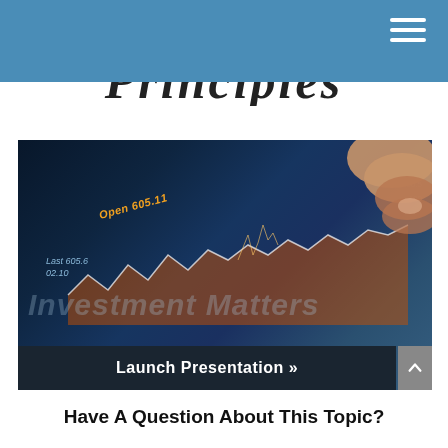Principles
[Figure (photo): A hand pointing at a tablet/screen showing stock market charts with orange/white candlestick patterns. Overlay text reads 'Investment Matters' as watermark and '5 Smart Investing Principles' as main title. Labels visible: 'Open 605.11', 'Last 605.6', '02.10'. Bottom dark bar shows 'Launch Presentation »']
Have A Question About This Topic?